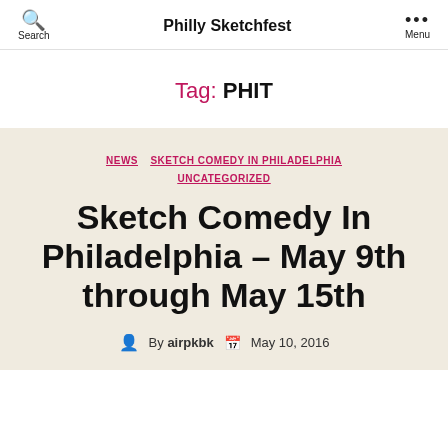Philly Sketchfest
Tag: PHIT
NEWS  SKETCH COMEDY IN PHILADELPHIA  UNCATEGORIZED
Sketch Comedy In Philadelphia – May 9th through May 15th
By airpkbk  May 10, 2016